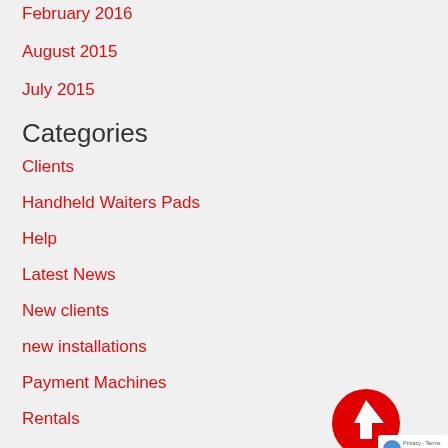February 2016
August 2015
July 2015
Categories
Clients
Handheld Waiters Pads
Help
Latest News
New clients
new installations
Payment Machines
Rentals
Reviews
[Figure (illustration): Red circular back-to-top button with white upward arrow, and a reCAPTCHA privacy badge in the bottom right corner]